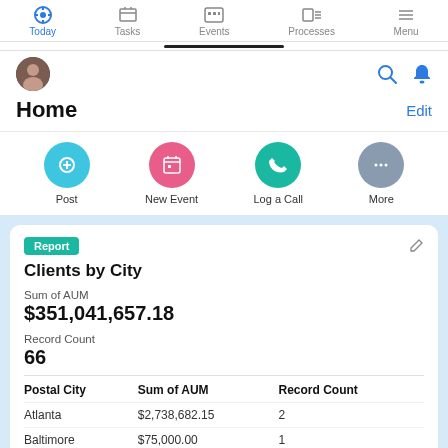[Figure (screenshot): Mobile app navigation bar with icons: Today (active, blue), Tasks, Events, Processes, Menu]
[Figure (screenshot): User avatar photo and search/notification icons]
Home
Edit
[Figure (screenshot): Action buttons row: Post (blue circle), New Event (pink circle), Log a Call (teal circle), More (grey circle)]
Report
Clients by City
Sum of AUM
$351,041,657.18
Record Count
66
| Postal City | Sum of AUM | Record Count |
| --- | --- | --- |
| Atlanta | $2,738,682.15 | 2 |
| Baltimore | $75,000.00 | 1 |
| Boys Town | $0.00 | 1 |